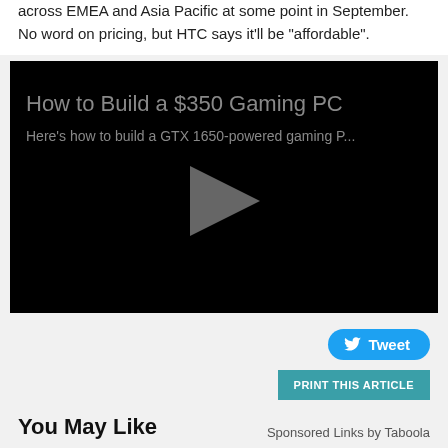across EMEA and Asia Pacific at some point in September. No word on pricing, but HTC says it'll be "affordable".
[Figure (screenshot): Video thumbnail for 'How to Build a $350 Gaming PC' with subtitle 'Here's how to build a GTX 1650-powered gaming P...' and a play button, on a black background.]
Tweet
PRINT THIS ARTICLE
You May Like
Sponsored Links by Taboola